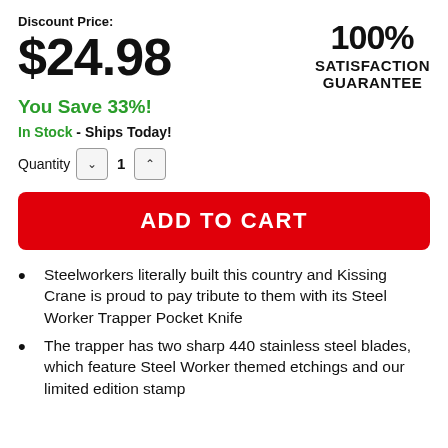Discount Price:
$24.98
[Figure (infographic): 100% SATISFACTION GUARANTEE badge text]
You Save 33%!
In Stock - Ships Today!
Quantity 1
ADD TO CART
Steelworkers literally built this country and Kissing Crane is proud to pay tribute to them with its Steel Worker Trapper Pocket Knife
The trapper has two sharp 440 stainless steel blades, which feature Steel Worker themed etchings and our limited edition stamp